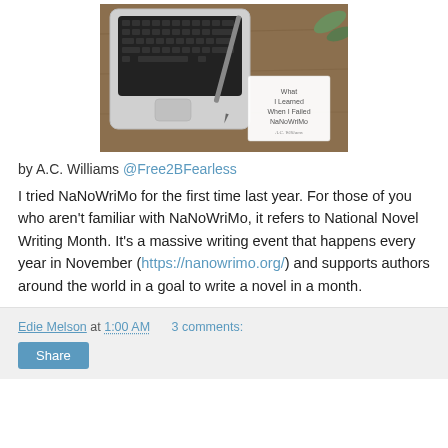[Figure (photo): Photo of a laptop keyboard, a pen, photos scattered on a wooden desk surface, with a card that reads 'What I Learned When I Failed NaNoWriMo A.C. Williams']
by A.C. Williams @Free2BFearless
I tried NaNoWriMo for the first time last year. For those of you who aren't familiar with NaNoWriMo, it refers to National Novel Writing Month. It's a massive writing event that happens every year in November (https://nanowrimo.org/) and supports authors around the world in a goal to write a novel in a month.
Edie Melson at 1:00 AM   3 comments: